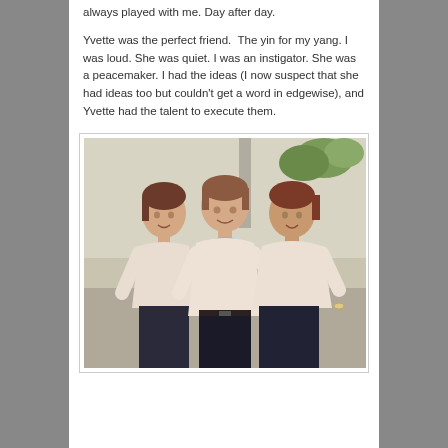always played with me. Day after day.
Yvette was the perfect friend.  The yin for my yang. I was loud.  She was quiet. I was an instigator. She was a peacemaker. I had the ideas (I now suspect that she had ideas too but couldn't get a word in edgewise), and Yvette had the talent to execute them.
[Figure (photo): Three young women or girls standing together, smiling, wearing matching light pink short-sleeve tops with blue scarves and dark pants/skirts. They are posed outdoors in front of a light-colored wall with some foliage visible.]